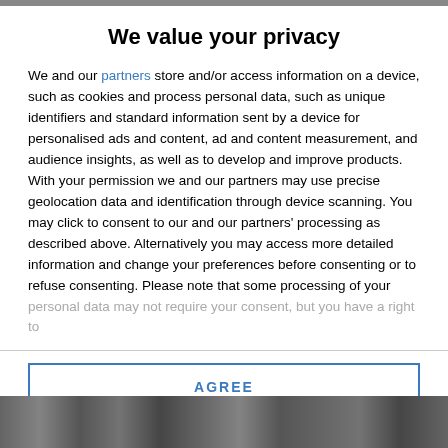We value your privacy
We and our partners store and/or access information on a device, such as cookies and process personal data, such as unique identifiers and standard information sent by a device for personalised ads and content, ad and content measurement, and audience insights, as well as to develop and improve products. With your permission we and our partners may use precise geolocation data and identification through device scanning. You may click to consent to our and our partners' processing as described above. Alternatively you may access more detailed information and change your preferences before consenting or to refuse consenting. Please note that some processing of your personal data may not require your consent, but you have a right to
AGREE
MORE OPTIONS
[Figure (photo): Partially visible photograph at the bottom of the page, appears to show an outdoor scene.]